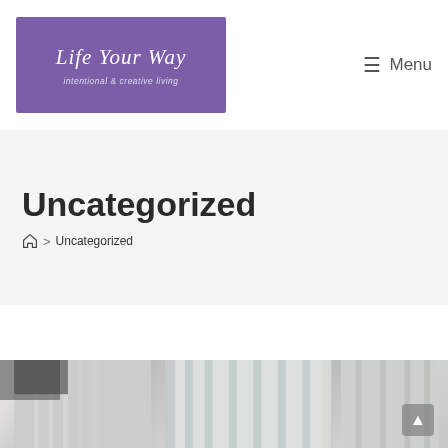[Figure (logo): Purple rectangular logo with 'Life Your Way' in white italic script font and subtitle 'intentional & creative living' in smaller italic text below]
≡ Menu
Uncategorized
🏠 > Uncategorized
[Figure (photo): Partial view of a room interior photo strip showing curtains and furniture, cropped at bottom of page]